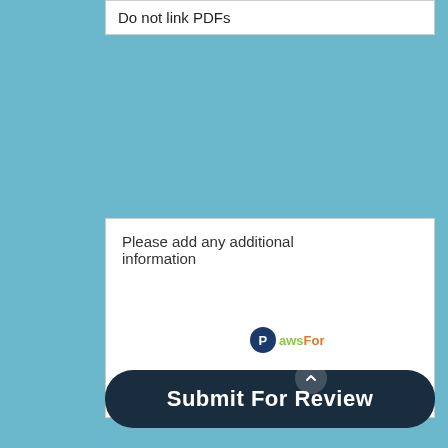Do not link PDFs
Please add any additional information
Brought to you by
Submit For Review